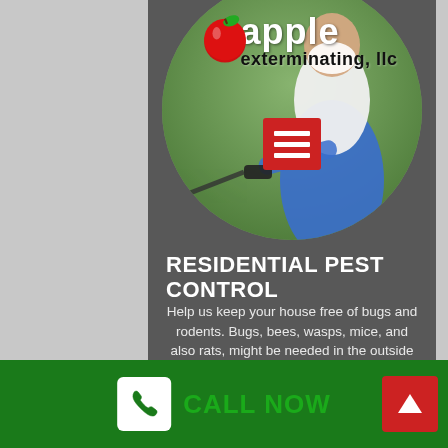[Figure (photo): Pest control worker wearing a white face mask and blue overalls, holding a spray gun, with green trees in the background. Apple Exterminating LLC logo with red apple graphic overlaid at top.]
RESIDENTIAL PEST CONTROL
Help us keep your house free of bugs and rodents. Bugs, bees, wasps, mice, and also rats, might be needed in the outside ecosystem; but they end up being harmful
[Figure (infographic): Green bottom bar with white phone icon box, green CALL NOW text, and red up-arrow button on right]